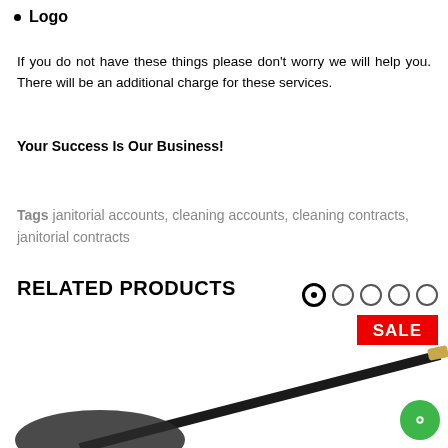Logo
If you do not have these things please don't worry we will help you. There will be an additional charge for these services.
Your Success Is Our Business!
Tags janitorial accounts, cleaning accounts, cleaning contracts, janitorial contracts
RELATED PRODUCTS
[Figure (other): Sale badge and product image showing a cleaning tool (mop or broom handle) partially visible]
[Figure (other): Green chat bubble icon in bottom right corner]